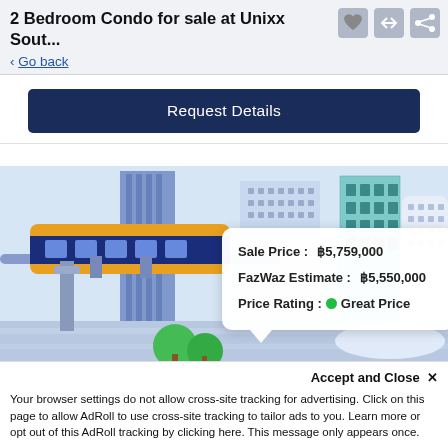2 Bedroom Condo for sale at Unixx Sout...
< Go back
Request Details
[Figure (illustration): Isometric city illustration with a monorail/skytrain, tall buildings with blue and teal windows, roads, and green trees. A white popup card overlays the image showing: Sale Price: ฿5,759,000 | FazWaz Estimate: ฿5,550,000 | Price Rating: Great Price (green dot)]
Sale Price :  ฿5,759,000
FazWaz Estimate :  ฿5,550,000
Price Rating :  Great Price
Accept and Close ✕
Your browser settings do not allow cross-site tracking for advertising. Click on this page to allow AdRoll to use cross-site tracking to tailor ads to you. Learn more or opt out of this AdRoll tracking by clicking here. This message only appears once.